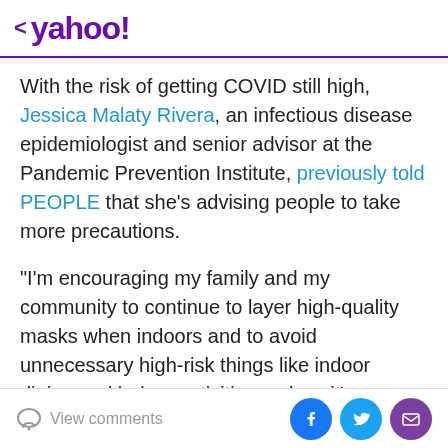< yahoo!
With the risk of getting COVID still high, Jessica Malaty Rivera, an infectious disease epidemiologist and senior advisor at the Pandemic Prevention Institute, previously told PEOPLE that she's advising people to take more precautions.
"I'm encouraging my family and my community to continue to layer high-quality masks when indoors and to avoid unnecessary high-risk things like indoor dining and indoor activities, unless it's absolutely necessary," she said. "I think that it's important that people remember that surges don't last forever, and that public health
View comments